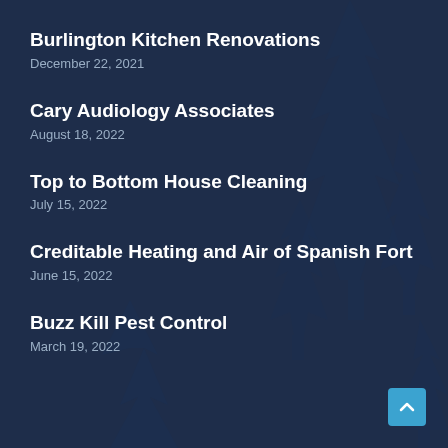Burlington Kitchen Renovations
December 22, 2021
Cary Audiology Associates
August 18, 2022
Top to Bottom House Cleaning
July 15, 2022
Creditable Heating and Air of Spanish Fort
June 15, 2022
Buzz Kill Pest Control
March 19, 2022